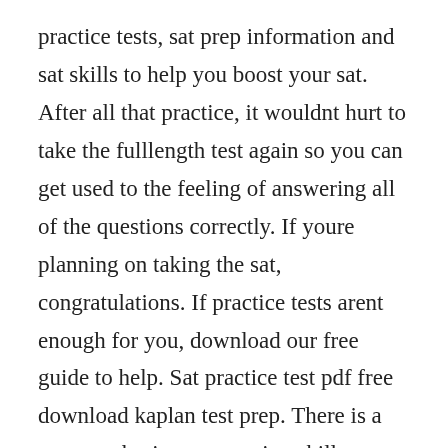practice tests, sat prep information and sat skills to help you boost your sat. After all that practice, it wouldnt hurt to take the fulllength test again so you can get used to the feeling of answering all of the questions correctly. If youre planning on taking the sat, congratulations. If practice tests arent enough for you, download our free guide to help. Sat practice test pdf free download kaplan test prep. There is a new emphasis on reasoning skills, as opposed to memorization of facts. Sep 29, 2019 this comprehensive guide gives